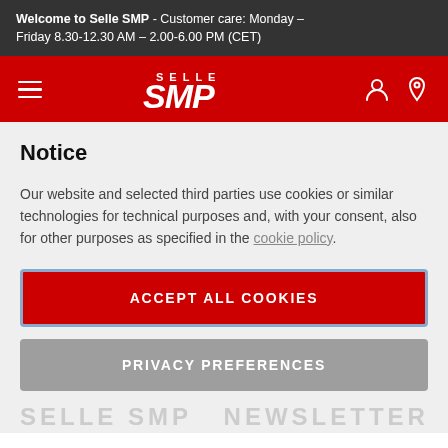Welcome to Selle SMP - Customer care: Monday – Friday 8.30-12.30 AM – 2.00-6.00 PM (CET)
[Figure (logo): Selle SMP logo on red navigation bar with hamburger menu, user icon, and location pin icon]
Notice
Our website and selected third parties use cookies or similar technologies for technical purposes and, with your consent, also for other purposes as specified in the cookie policy.
ACCEPT ALL COOKIES
PRIVACY PREFERENCES
SELLE SMP NEWSLETTER